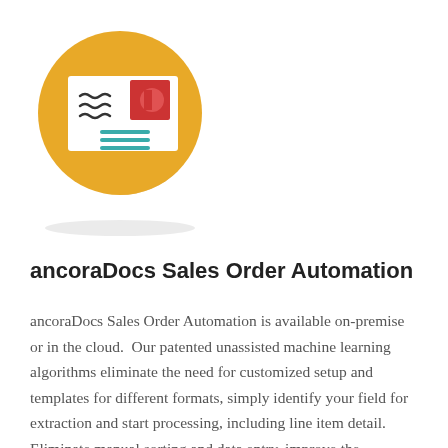[Figure (illustration): A circular orange/golden icon with a long shadow effect. Inside the circle is a white envelope/letter with wavy dark lines representing text on the left side, a red postage stamp in the upper right corner, and teal/green horizontal lines at the bottom center of the envelope.]
ancoraDocs Sales Order Automation
ancoraDocs Sales Order Automation is available on-premise or in the cloud.  Our patented unassisted machine learning algorithms eliminate the need for customized setup and templates for different formats, simply identify your field for extraction and start processing, including line item detail.  Eliminate manual sorting and data entry, improve the accuracy of your data and cut the cycle and processing time for